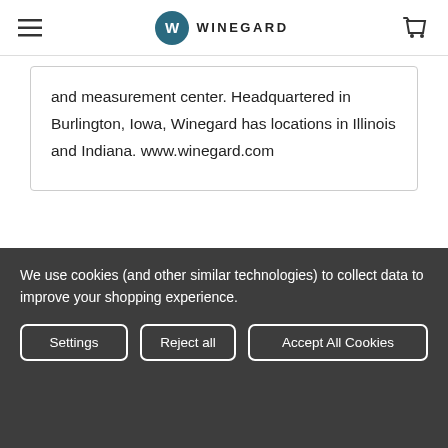WINEGARD
and measurement center. Headquartered in Burlington, Iowa, Winegard has locations in Illinois and Indiana. www.winegard.com
[Figure (logo): Winegard circular logo in teal/dark blue at footer]
We use cookies (and other similar technologies) to collect data to improve your shopping experience.
Settings | Reject all | Accept All Cookies